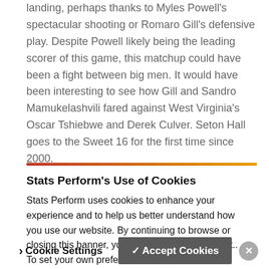landing, perhaps thanks to Myles Powell's spectacular shooting or Romaro Gill's defensive play. Despite Powell likely being the leading scorer of this game, this matchup could have been a fight between big men. It would have been interesting to see how Gill and Sandro Mamukelashvili fared against West Virginia's Oscar Tshiebwe and Derek Culver. Seton Hall goes to the Sweet 16 for the first time since 2000.
Stats Perform's Use of Cookies
Stats Perform uses cookies to enhance your experience and to help us better understand how you use our website. By continuing to browse or closing this banner, you indicate your agreement.. To set your own preferences click "Cookie Settings" and to learn more about the cookies we use see our Cookie Policy